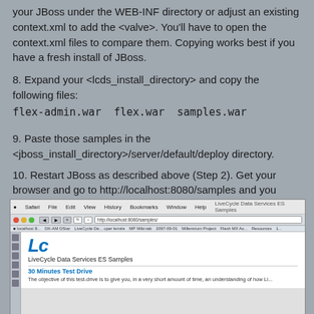your JBoss under the WEB-INF directory or adjust an existing context.xml to add the <valve>. You'll have to open the context.xml files to compare them. Copying works best if you have a fresh install of JBoss.
8. Expand your <lcds_install_directory> and copy the following files:
flex-admin.war flex.war samples.war
9. Paste those samples in the <jboss_install_directory>/server/default/deploy directory.
10. Restart JBoss as described above (Step 2). Get your browser and go to http://localhost:8080/samples and you should see this:
[Figure (screenshot): Browser screenshot showing Safari with LiveCycle Data Services ES Samples page loaded at http://localhost:8080/samples, displaying the Lc logo, 'LiveCycle Data Services ES Samples' title, and a '30 Minutes Test Drive' section.]